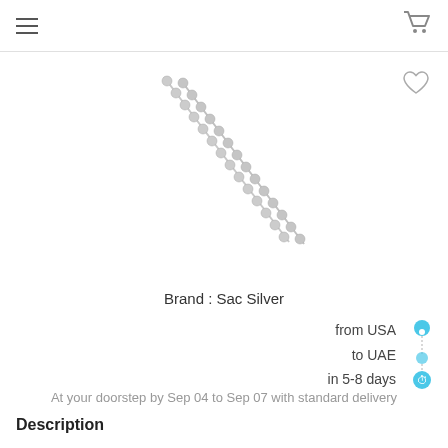≡  🛒
[Figure (photo): Two silver ball chain necklaces laid diagonally on a white background]
Brand : Sac Silver
from USA
to UAE
in 5-8 days
At your doorstep by Sep 04  to Sep 07 with standard delivery
Description